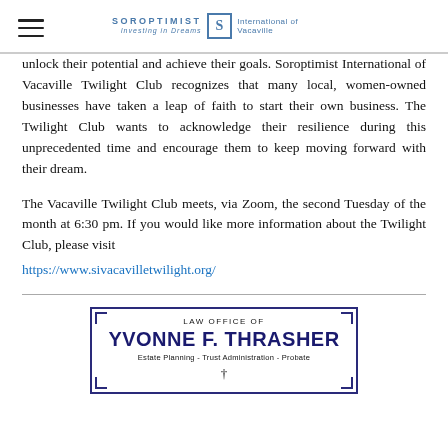Soroptimist International of Vacaville — Investing in Dreams
unlock their potential and achieve their goals. Soroptimist International of Vacaville Twilight Club recognizes that many local, women-owned businesses have taken a leap of faith to start their own business. The Twilight Club wants to acknowledge their resilience during this unprecedented time and encourage them to keep moving forward with their dream.
The Vacaville Twilight Club meets, via Zoom, the second Tuesday of the month at 6:30 pm. If you would like more information about the Twilight Club, please visit https://www.sivacavilletwilight.org/
[Figure (other): Advertisement for Law Office of Yvonne F. Thrasher — Estate Planning, Trust Administration, Probate]